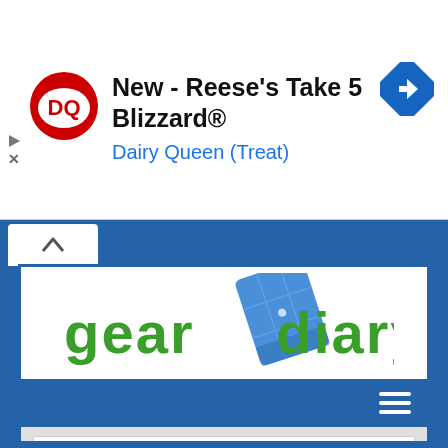[Figure (screenshot): Advertisement banner for Dairy Queen: DQ logo on left, text 'New - Reese's Take 5 Blizzard®' and 'Dairy Queen (Treat)' in center, blue navigation diamond icon on right. Play and close controls on far left.]
[Figure (screenshot): Gear Diary website screenshot showing the Gear Diary logo (green text with blue notebook graphic), a blue navigation bar with hamburger menu icon, and a search bar with placeholder text 'SEARCH ...' on a light gray background.]